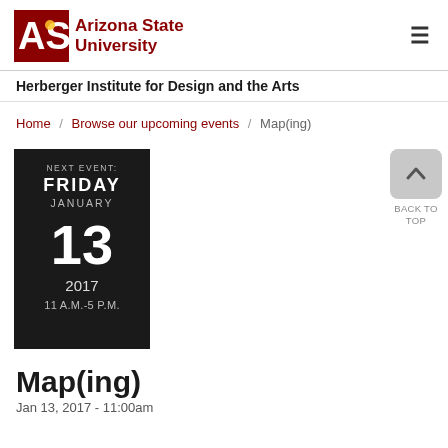[Figure (logo): ASU Arizona State University logo with maroon text and sunburst icon]
Herberger Institute for Design and the Arts
Home / Browse our upcoming events / Map(ing)
[Figure (infographic): Event date card: NEXT EVENT: FRIDAY JANUARY 13 2017 11 A.M.-5 P.M.]
Map(ing)
Jan 13, 2017 - 11:00am